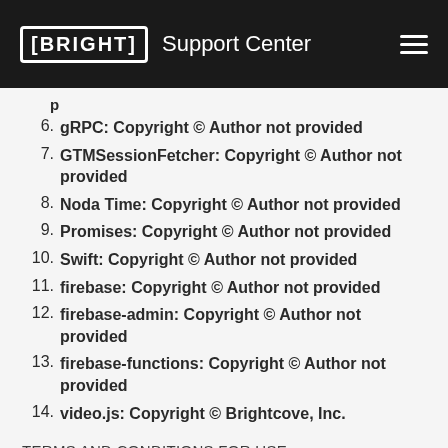BRIGHT Support Center
6. gRPC: Copyright © Author not provided
7. GTMSessionFetcher: Copyright © Author not provided
8. Noda Time: Copyright © Author not provided
9. Promises: Copyright © Author not provided
10. Swift: Copyright © Author not provided
11. firebase: Copyright © Author not provided
12. firebase-admin: Copyright © Author not provided
13. firebase-functions: Copyright © Author not provided
14. video.js: Copyright © Brightcove, Inc.
TERMS AND CONDITIONS FOR USE, REPRODUCTION, AND DISTRIBUTION